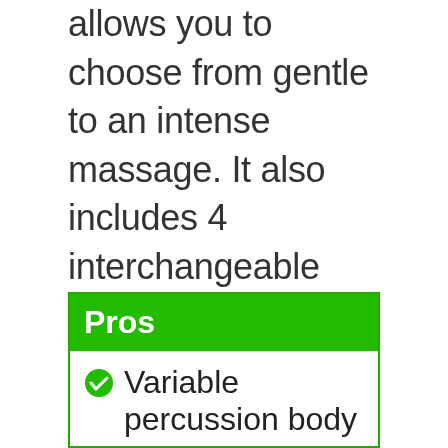allows you to choose from gentle to an intense massage. It also includes 4 interchangeable attachments for a variety of massage options: a flat disc attachment for large areas such as back or legs, a round head attachment for smaller areas such as shoulders or feet, an extension bar with ball attachment for working on the neck.
Pros
Variable percussion body